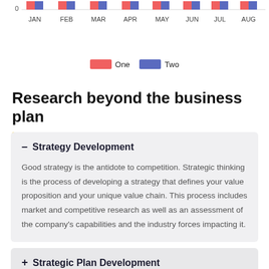[Figure (grouped-bar-chart): Monthly grouped bar chart]
One   Two
Research beyond the business plan
— Strategy Development
Good strategy is the antidote to competition. Strategic thinking is the process of developing a strategy that defines your value proposition and your unique value chain. This process includes market and competitive research as well as an assessment of the company's capabilities and the industry forces impacting it.
+ Strategic Plan Development